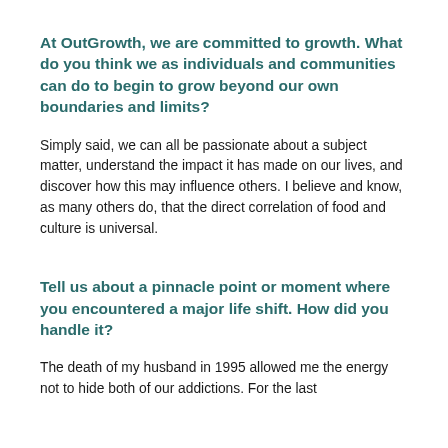At OutGrowth, we are committed to growth. What do you think we as individuals and communities can do to begin to grow beyond our own boundaries and limits?
Simply said, we can all be passionate about a subject matter, understand the impact it has made on our lives, and discover how this may influence others. I believe and know, as many others do, that the direct correlation of food and culture is universal.
Tell us about a pinnacle point or moment where you encountered a major life shift. How did you handle it?
The death of my husband in 1995 allowed me the energy not to hide both of our addictions. For the last